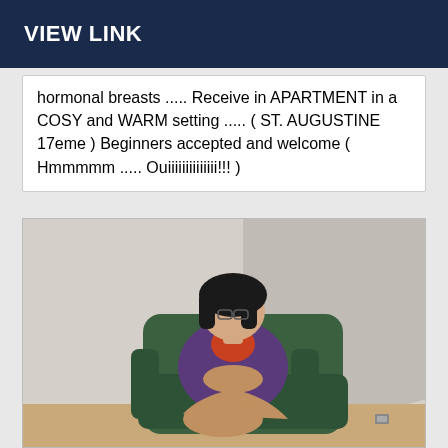VIEW LINK
hormonal breasts ..... Receive in APARTMENT in a COSY and WARM setting ..... ( ST. AUGUSTINE 17eme ) Beginners accepted and welcome ( Hmmmmm ..... Ouiiiiiiiiiiiiii!!! )
[Figure (photo): Person with short dark hair and glasses seated in a green armchair, wearing a purple jacket and orange top, with legs crossed, in a light-colored room.]